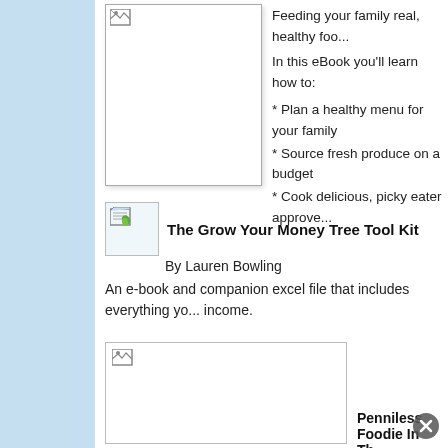[Figure (illustration): Book cover placeholder image (broken image icon) for a cookbook/food ebook]
Feeding your family real, healthy foo...
In this eBook you'll learn how to:
* Plan a healthy menu for your family
* Source fresh produce on a budget
* Cook delicious, picky eater approve...
[Figure (illustration): Small document/file icon for The Grow Your Money Tree Tool Kit]
The Grow Your Money Tree Tool Kit
By Lauren Bowling
An e-book and companion excel file that includes everything yo... income.
[Figure (illustration): Book cover placeholder image (broken image icon) for Penniless Foodie In Th...]
Penniless Foodie In Th...